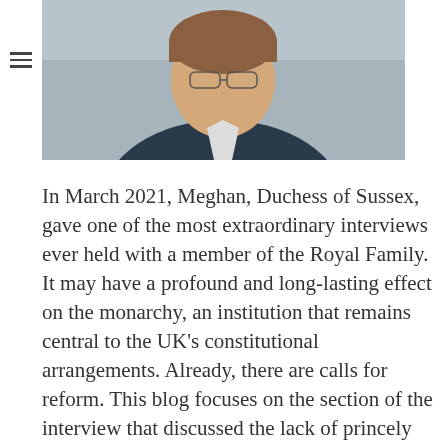[Figure (photo): Portrait photo of a young man in a dark jacket, photographed outdoors with a blurred background.]
In March 2021, Meghan, Duchess of Sussex, gave one of the most extraordinary interviews ever held with a member of the Royal Family. It may have a profound and long-lasting effect on the monarchy, an institution that remains central to the UK's constitutional arrangements. Already, there are calls for reform. This blog focuses on the section of the interview that discussed the lack of princely status for Archie, the Sussexes' eldest child.
The aim is not to address the Duchess's specific points, as the media have scrutinised them in great detail. Instead, the issue of Archie's status is the key that opens the door to a range of issues that the monarchy faces as